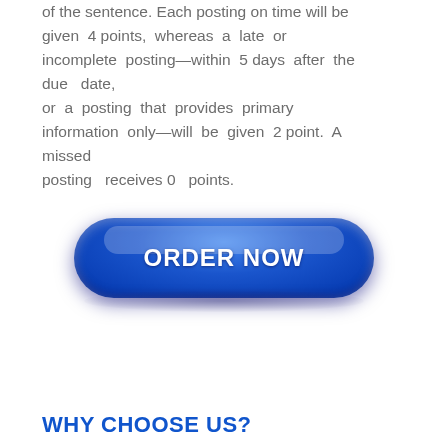of the sentence. Each posting on time will be given 4 points, whereas a late or incomplete posting—within 5 days after the due date, or a posting that provides primary information only—will be given 2 point. A missed posting receives 0 points.
[Figure (other): A glossy blue pill-shaped button with white bold text reading ORDER NOW]
WHY CHOOSE US?